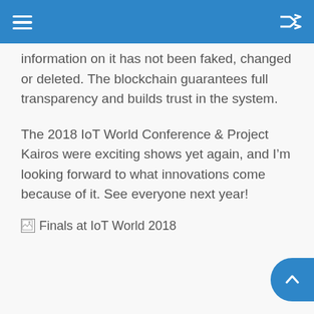information on it has not been faked, changed or deleted. The blockchain guarantees full transparency and builds trust in the system.
The 2018 IoT World Conference & Project Kairos were exciting shows yet again, and I'm looking forward to what innovations come because of it. See everyone next year!
[Figure (photo): Broken image placeholder labeled 'Finals at IoT World 2018']